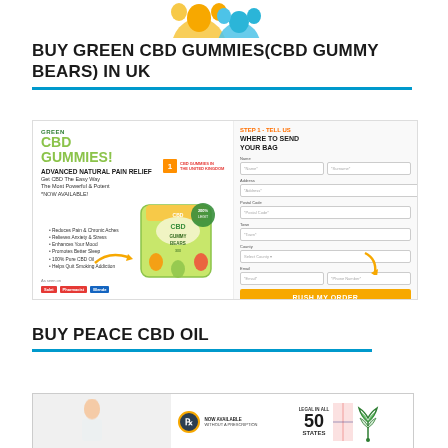[Figure (photo): Top portion of gummy bear product image, partially cropped at top of page]
BUY GREEN CBD GUMMIES(CBD GUMMY BEARS) IN UK
[Figure (infographic): Green CBD Gummies advertisement banner with product image, benefits list, Step 1 form to enter shipping address, and RUSH MY ORDER button]
BUY PEACE CBD OIL
[Figure (infographic): Peace CBD Oil advertisement banner with Rx badge, NOW AVAILABLE WITHOUT A PRESCRIPTION text, LEGAL IN ALL 50 STATES text, and woman image]